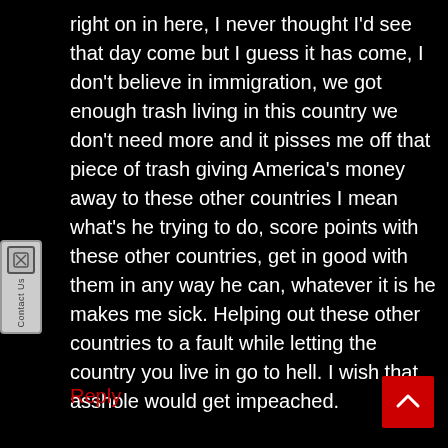right on in here, I never thought I'd see that day come but I guess it has come, I don't believe in immigration, we got enough trash living in this country we don't need more and it pisses me off that piece of trash giving America's money away to these other countries I mean what's he trying to do, score points with these other countries, get in good with them in any way he can, whatever it is he makes me sick. Helping out these other countries to a fault while letting the country you live in go to hell. I wish that asshole would get impeached.
Reply